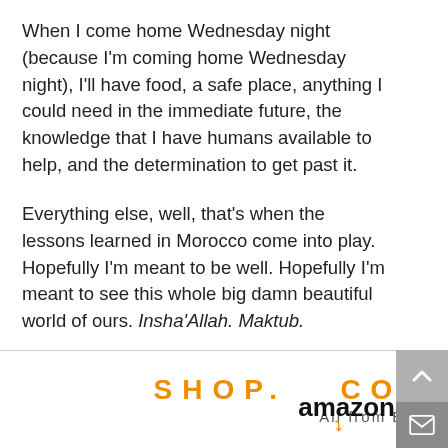When I come home Wednesday night (because I'm coming home Wednesday night), I'll have food, a safe place, anything I could need in the immediate future, the knowledge that I have humans available to help, and the determination to get past it.
Everything else, well, that's when the lessons learned in Morocco come into play. Hopefully I'm meant to be well. Hopefully I'm meant to see this whole big damn beautiful world of ours. Insha'Allah. Maktub.
If all that is written, then sign me up, man, 'cos I'm in.
[Figure (other): Amazon advertisement banner reading 'SHOP. CONNECT. ENJOY.' in orange bold text and 'All from Earth's biggest selection.' below, with Amazon logo on the right side.]